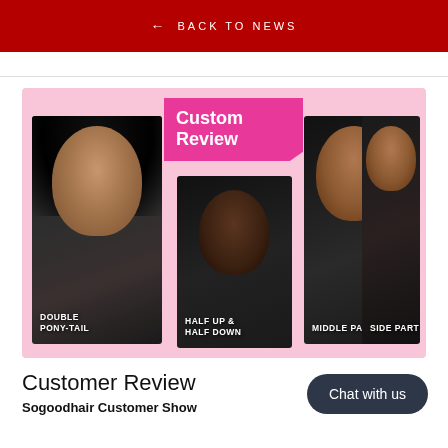← BACK TO NEWS
[Figure (photo): Customer review collage showing four women wearing hair extensions/wigs in different styles: Double Pony-Tail (left), Half Up & Half Down (center), Middle Part (right center), Side Part (far right). Pink background with 'Custom Review' badge in magenta.]
Customer Review
Sogoodhair Customer Show